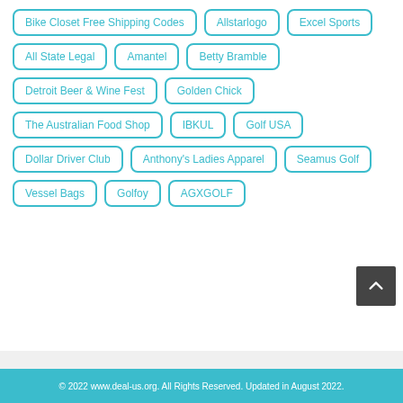Bike Closet Free Shipping Codes
Allstarlogo
Excel Sports
All State Legal
Amantel
Betty Bramble
Detroit Beer & Wine Fest
Golden Chick
The Australian Food Shop
IBKUL
Golf USA
Dollar Driver Club
Anthony's Ladies Apparel
Seamus Golf
Vessel Bags
Golfoy
AGXGOLF
© 2022 www.deal-us.org. All Rights Reserved. Updated in August 2022.